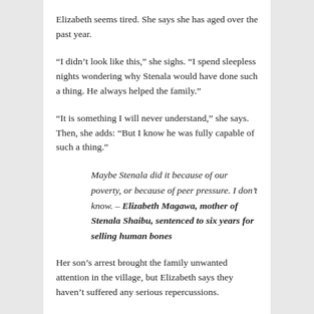Elizabeth seems tired. She says she has aged over the past year.
“I didn’t look like this,” she sighs. “I spend sleepless nights wondering why Stenala would have done such a thing. He always helped the family.”
“It is something I will never understand,” she says. Then, she adds: “But I know he was fully capable of such a thing.”
Maybe Stenala did it because of our poverty, or because of peer pressure. I don’t know. – Elizabeth Magawa, mother of Stenala Shaibu, sentenced to six years for selling human bones
Her son’s arrest brought the family unwanted attention in the village, but Elizabeth says they haven’t suffered any serious repercussions.
“There was a lot of talk. They spoke about bones. But